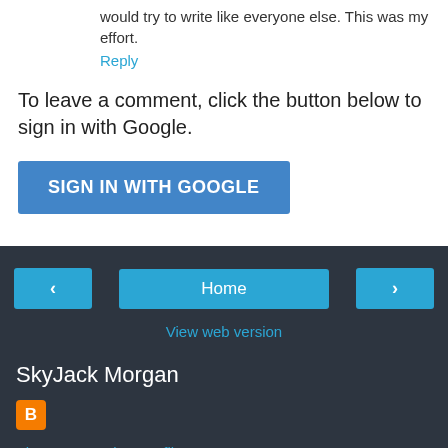would try to write like everyone else. This was my effort.
Reply
To leave a comment, click the button below to sign in with Google.
SIGN IN WITH GOOGLE
< Home >
View web version
SkyJack Morgan
View my complete profile
Powered by Blogger.